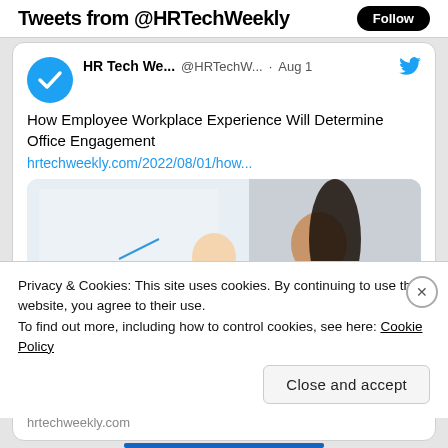Tweets from @HRTechWeekly  Follow
HR Tech We... @HRTechW... · Aug 1
How Employee Workplace Experience Will Determine Office Engagement
hrtechweekly.com/2022/08/01/how...
[Figure (photo): Two businesswomen in an office, one writing on a glass wall while the other watches]
Privacy & Cookies: This site uses cookies. By continuing to use this website, you agree to their use.
To find out more, including how to control cookies, see here: Cookie Policy
Close and accept